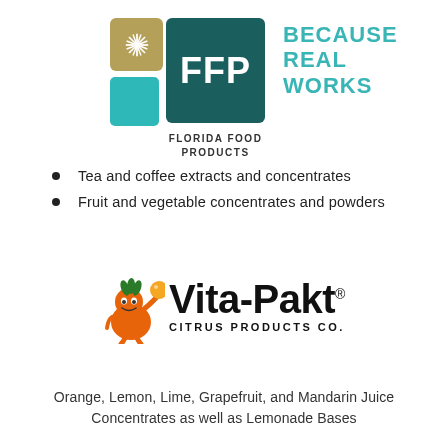[Figure (logo): FFP Florida Food Products logo with gold starburst square, teal square, dark teal FFP square, and teal BECAUSE REAL WORKS tagline]
Tea and coffee extracts and concentrates
Fruit and vegetable concentrates and powders
[Figure (logo): Vita-Pakt Citrus Products Co. logo with orange mascot character holding an orange]
Orange, Lemon, Lime, Grapefruit, and Mandarin Juice Concentrates as well as Lemonade Bases